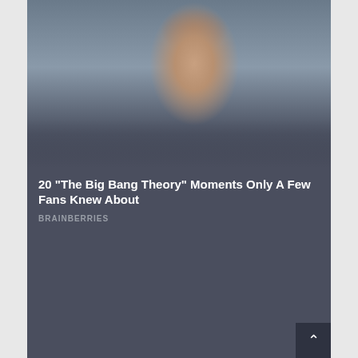[Figure (photo): Photo of a woman with brown hair wearing glasses and a red cardigan, standing in front of a decorative background. Below the photo is a dark gray/slate card with a title and source label.]
20 "The Big Bang Theory" Moments Only A Few Fans Knew About
BRAINBERRIES
[Figure (screenshot): Dark gray/slate colored card area, empty/loading, with a scroll-to-top arrow button in the bottom right corner.]